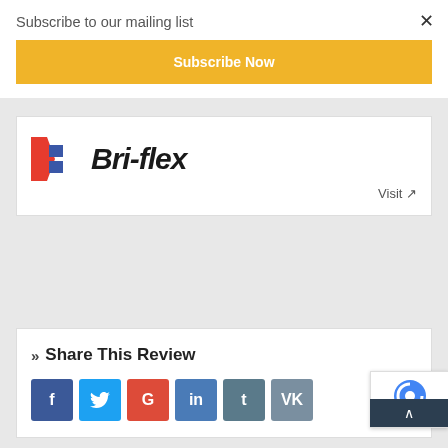Subscribe to our mailing list
Subscribe Now
[Figure (logo): Broker logo partially visible — appears to say 'Bri-flex' or similar brand with colored chevron/flag icon]
Visit ↗
» Share This Review
[Figure (infographic): Social media share buttons: Facebook (f), Twitter bird, Google (G), LinkedIn (in), Tumblr (t), VK (VK)]
[Figure (logo): reCAPTCHA badge bottom right with scroll-to-top arrow button]